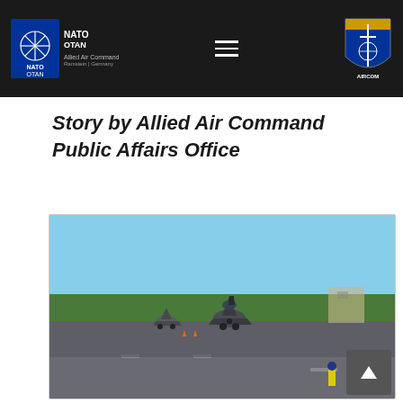NATO OTAN Allied Air Command | AIRCOM
Story by Allied Air Command Public Affairs Office
[Figure (photo): Two F-16 fighter jets taxiing on a runway at an airbase, with green trees and facilities visible in the background. Orange cones and markers are visible on the tarmac.]